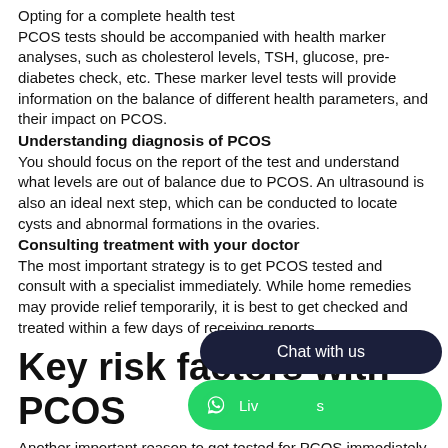Opting for a complete health test
PCOS tests should be accompanied with health marker analyses, such as cholesterol levels, TSH, glucose, pre-diabetes check, etc. These marker level tests will provide information on the balance of different health parameters, and their impact on PCOS.
Understanding diagnosis of PCOS
You should focus on the report of the test and understand what levels are out of balance due to PCOS. An ultrasound is also an ideal next step, which can be conducted to locate cysts and abnormal formations in the ovaries.
Consulting treatment with your doctor
The most important strategy is to get PCOS tested and consult with a specialist immediately. While home remedies may provide relief temporarily, it is best to get checked and treated within a few days of receiving reports.
Key risk factors with PCOS
Another important reason to get tested for PCOS immediately is the risk factors associated with the condition. Your risk of secondary diseases rises significantly if you                           s why doctors recommend that you                      s alleviate the risk.
Diabetes
[Figure (screenshot): Chat with us button overlay with WhatsApp Live chat button in green, dark rounded rectangle with 'Chat with us' text, and WhatsApp icon]